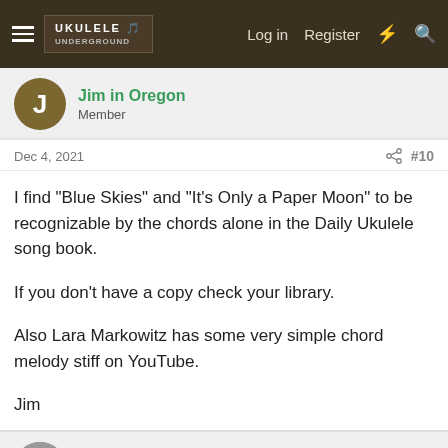Ukulele Underground — Log in  Register
Jim in Oregon
Member
Dec 4, 2021  #10
I find "Blue Skies" and "It's Only a Paper Moon" to be recognizable by the chords alone in the Daily Ukulele song book.

If you don't have a copy check your library.

Also Lara Markowitz has some very simple chord melody stiff on YouTube.

Jim
ripock
Well-known member